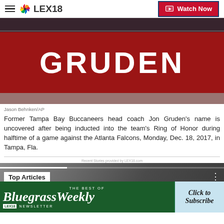LEX18 | Watch Now
[Figure (photo): A red sign with white letters spelling GRUDEN, displayed in what appears to be a stadium or arena setting. The sign is shown after Jon Gruden's name was uncovered during his Ring of Honor induction at Tampa Bay Buccaneers.]
Jason Behnken/AP
Former Tampa Bay Buccaneers head coach Jon Gruden's name is uncovered after being inducted into the team's Ring of Honor during halftime of a game against the Atlanta Falcons, Monday, Dec. 18, 2017, in Tampa, Fla.
[Figure (screenshot): Bottom section showing a video player with 'Top Articles' overlay and a Bluegrass Weekly newsletter advertisement banner at the bottom reading 'The Best Of BluegrassWeekly NEWSLETTER - Click to Subscribe']